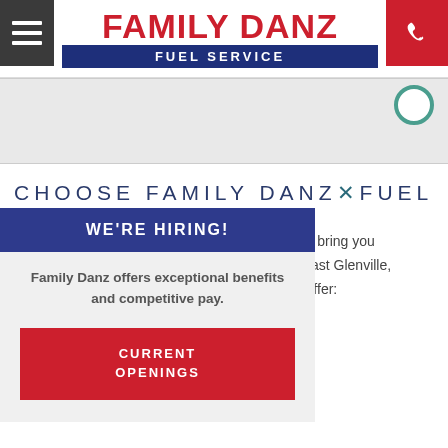[Figure (logo): Family Danz Fuel Service logo with menu button and phone button in header]
[Figure (other): Gray banner area with partial teal circle icon visible at top right]
CHOOSE FAMILY DANZ FUEL
WE'RE HIRING!
Family Danz offers exceptional benefits and competitive pay.
CURRENT OPENINGS
e to bring you n East Glenville, to offer: